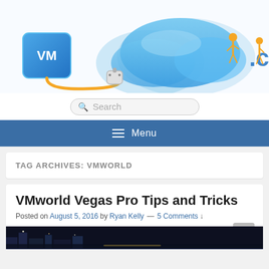[Figure (illustration): Website header banner showing a VM logo box connected by orange cord to a blue cloud, with orange figures constructing the word 'com' in 3D letters]
Search
Menu
TAG ARCHIVES: VMWORLD
VMworld Vegas Pro Tips and Tricks
Posted on August 5, 2016 by Ryan Kelly — 5 Comments ↓
[Figure (photo): Night cityscape image at the bottom of the post card, partially visible]